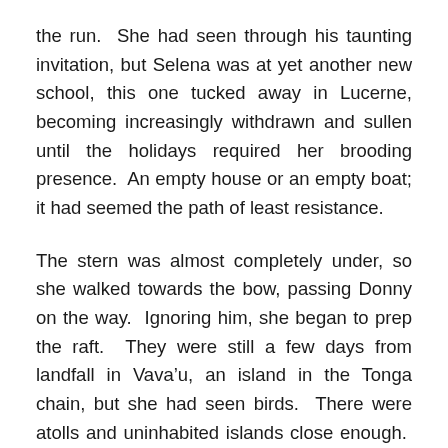the run.  She had seen through his taunting invitation, but Selena was at yet another new school, this one tucked away in Lucerne, becoming increasingly withdrawn and sullen until the holidays required her brooding presence.  An empty house or an empty boat; it had seemed the path of least resistance.
The stern was almost completely under, so she walked towards the bow, passing Donny on the way.  Ignoring him, she began to prep the raft.  They were still a few days from landfall in Vava’u, an island in the Tonga chain, but she had seen birds.  There were atolls and uninhabited islands close enough.  She had a radio, flares and enough food.  She began to lower the raft over the side.
“ffffffyllllht.”  Or something like that.  It was Donny.  She